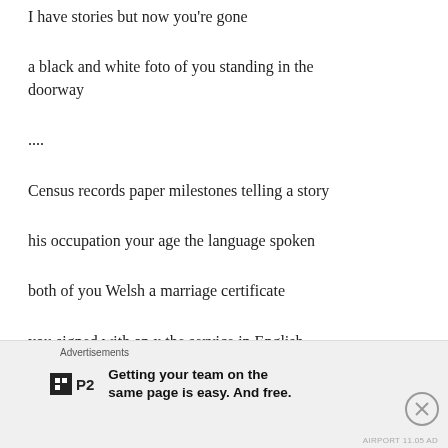I have stories but now you're gone
a black and white foto of you standing in the doorway
....
Census records paper milestones telling a story
his occupation your age the language spoken
both of you Welsh a marriage certificate
you signed with an x the service in English
the children you brought into this world
Advertisements
Getting your team on the same page is easy. And free.